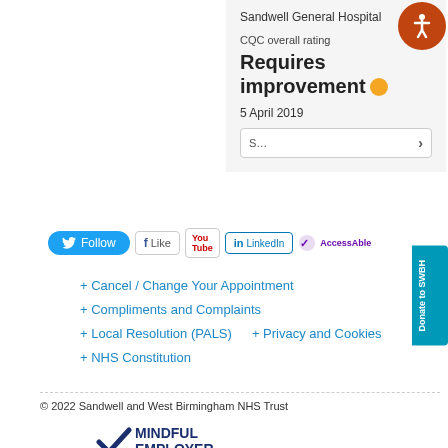Sandwell General Hospital
CQC overall rating
Requires improvement
5 April 2019
[Figure (infographic): Social media follow buttons: Twitter Follow, Facebook Like, YouTube, LinkedIn, AccessAble logo]
[Figure (infographic): Orange circular accessibility icon with person figure, top-right corner]
+ Cancel / Change Your Appointment
+ Compliments and Complaints
+ Local Resolution (PALS)
+ Privacy and Cookies
+ NHS Constitution
© 2022 Sandwell and West Birmingham NHS Trust
[Figure (logo): Mindful Employer logo with dark blue checkmark and bold text MINDFUL EMPLOYER]